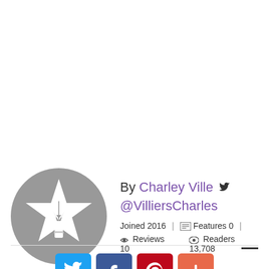[Figure (illustration): Gray circular avatar with a white star and fountain pen nib icon in the center]
By Charley Ville @VilliersCharles
Joined 2016  |  Features 0  |
Reviews 10   Readers 13,708
[Figure (infographic): Row of four social sharing buttons: Twitter (blue bird), Facebook (blue f), Pinterest (red P), and Plus/More (orange-red +)]